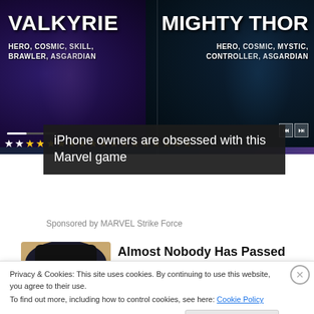[Figure (screenshot): Marvel Strike Force game ad banner showing Valkyrie (Hero, Cosmic, Skill, Brawler, Asgardian) on the left and Mighty Thor (Hero, Cosmic, Mystic, Controller, Asgardian) on the right with star ratings and progress/media controls]
iPhone owners are obsessed with this Marvel game
Sponsored by MARVEL Strike Force
[Figure (illustration): Quaker Oats man illustration - smiling older man with white wig and black hat]
Almost Nobody Has Passed This Classic Logo Quiz
WarpedSpeed
Privacy & Cookies: This site uses cookies. By continuing to use this website, you agree to their use.
To find out more, including how to control cookies, see here: Cookie Policy
Close and accept